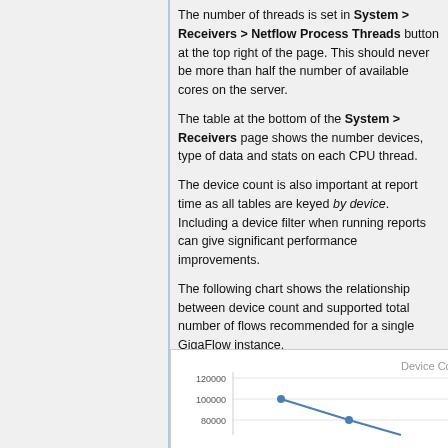The number of threads is set in System > Receivers > Netflow Process Threads button at the top right of the page. This should never be more than half the number of available cores on the server.
The table at the bottom of the System > Receivers page shows the number devices, type of data and stats on each CPU thread.
The device count is also important at report time as all tables are keyed by device. Including a device filter when running reports can give significant performance improvements.
The following chart shows the relationship between device count and supported total number of flows recommended for a single GigaFlow instance.
[Figure (line-chart): Line chart showing Device Count vs flows, y-axis shows 80000, 100000, 120000, line descends from ~100000 to ~80000]